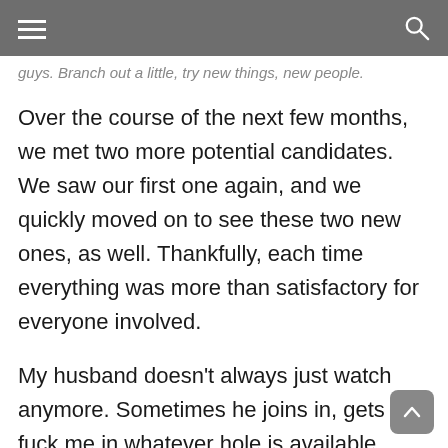[hamburger menu] [search icon]
guys. Branch out a little, try new things, new people.
Over the course of the next few months, we met two more potential candidates. We saw our first one again, and we quickly moved on to see these two new ones, as well. Thankfully, each time everything was more than satisfactory for everyone involved.
My husband doesn’t always just watch anymore. Sometimes he joins in, gets to fuck me in whatever hole is available. Sometimes he watches a little and then joins in. There are no rules to this, as long as no one is uncomfortable.
In the end, we have a few regular guys we see now.